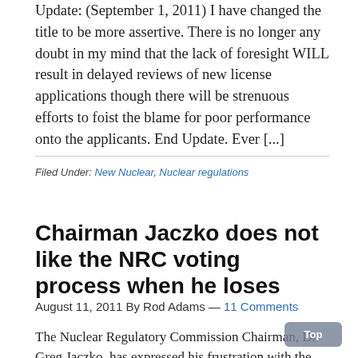Update: (September 1, 2011) I have changed the title to be more assertive. There is no longer any doubt in my mind that the lack of foresight WILL result in delayed reviews of new license applications though there will be strenuous efforts to foist the blame for poor performance onto the applicants. End Update. Ever [...]
Filed Under: New Nuclear, Nuclear regulations
Chairman Jaczko does not like the NRC voting process when he loses
August 11, 2011 By Rod Adams — 11 Comments
The Nuclear Regulatory Commission Chairman, Dr. Greg Jaczko, has expressed his frustration with the voting process in effect at the Nuclear